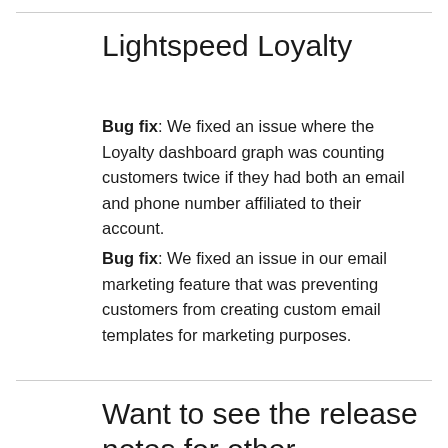Lightspeed Loyalty
Bug fix: We fixed an issue where the Loyalty dashboard graph was counting customers twice if they had both an email and phone number affiliated to their account.
Bug fix: We fixed an issue in our email marketing feature that was preventing customers from creating custom email templates for marketing purposes.
Want to see the release notes for other